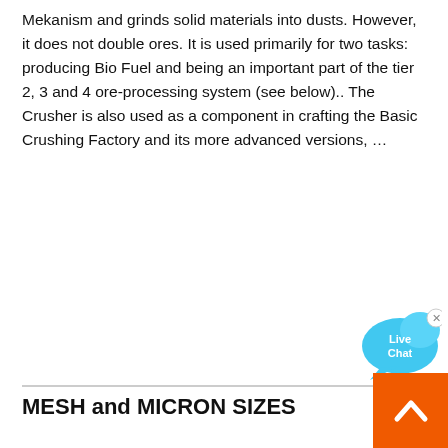Mekanism and grinds solid materials into dusts. However, it does not double ores. It is used primarily for two tasks: producing Bio Fuel and being an important part of the tier 2, 3 and 4 ore-processing system (see below).. The Crusher is also used as a component in crafting the Basic Crushing Factory and its more advanced versions, …
[Figure (other): Live Chat button bubble in cyan/blue color with 'Live Chat' text and an X close button]
MESH and MICRON SIZES
2020-9-29 · US Sieve Mesh Number1 Tyler Equivalent Mesh2 Typical Nominal Wire Diameter4 Typical Nominal Sieve Size Opening4 mm inch mm inch 2 - 2½ Mesh 5.600 0.2205 8.0000 0.3150 3 - 3 Mesh 1.870 0.0736 6.7000 0.2638 3 No. 3½ 3½ Mesh 1.6000 0.0630 5.6000 0.22 No. 4 4 Mesh 1.6000 0.0630 4.7500 0.1870 ...
[Figure (other): Orange scroll-to-top button with white upward chevron arrow]